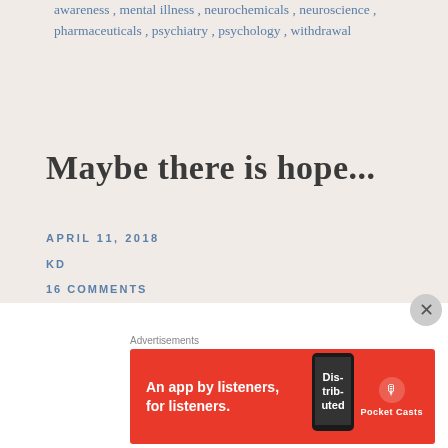awareness , mental illness , neurochemicals , neuroscience , pharmaceuticals , psychiatry , psychology , withdrawal
Maybe there is hope...
APRIL 11, 2018
KD
16 COMMENTS
Just a general update, nothing wise here. I had another session with Dr. W yesterday. As well as an appointment
[Figure (infographic): Pocket Casts advertisement banner: red background with text 'An app by listeners, for listeners.' and Pocket Casts logo with phone image]